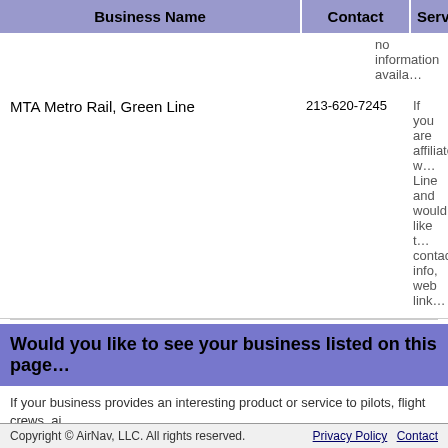| Business Name | Contact | Service |
| --- | --- | --- |
|  |  | no information availa… |
| MTA Metro Rail, Green Line | 213-620-7245 | If you are affiliated w… Line and would like t… contact info, web link… |
Would you like to see your business listed on this page…
If your business provides an interesting product or service to pilots, flight crews, ai… Field/Hawthorne Municipal Airport, you should consider listing it here. To start the…
Add Your Business or Service
Other Pages about Jack Northrop Field/Hawthorne Municipal Airport
www.cityofhawthorne.com/...
Update, Remove or Add a Link
Copyright © AirNav, LLC. All rights reserved.   Privacy Policy  Contact